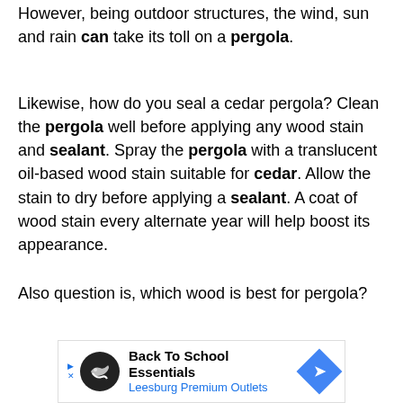However, being outdoor structures, the wind, sun and rain can take its toll on a pergola.
Likewise, how do you seal a cedar pergola? Clean the pergola well before applying any wood stain and sealant. Spray the pergola with a translucent oil-based wood stain suitable for cedar. Allow the stain to dry before applying a sealant. A coat of wood stain every alternate year will help boost its appearance.
Also question is, which wood is best for pergola?
[Figure (other): Advertisement banner for Back To School Essentials at Leesburg Premium Outlets with circular logo, play button, close button, and blue diamond arrow icon]